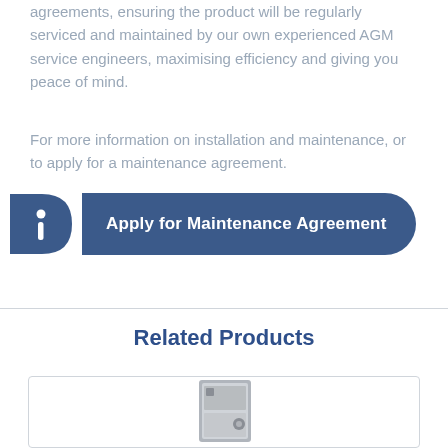agreements, ensuring the product will be regularly serviced and maintained by our own experienced AGM service engineers, maximising efficiency and giving you peace of mind.
For more information on installation and maintenance, or to apply for a maintenance agreement.
[Figure (infographic): Blue pill-shaped banner with an info 'i' icon on the left and white bold text 'Apply for Maintenance Agreement']
Related Products
[Figure (photo): Product image inside a bordered card at the bottom of the page]